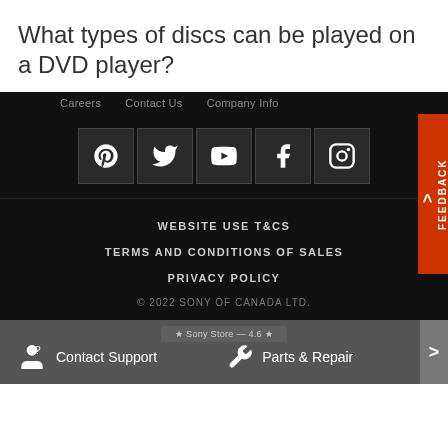What types of discs can be played on a DVD player?
Careers   Contact Us   Company Info
[Figure (other): Social media icon bar with Pinterest, Twitter, YouTube, Facebook, and Instagram icons on dark background]
WEBSITE USE T&CS
TERMS AND CONDITIONS OF SALES
PRIVACY POLICY
© 2022 SONY OF CANADA LTD.
Contact Support   Parts & Repair